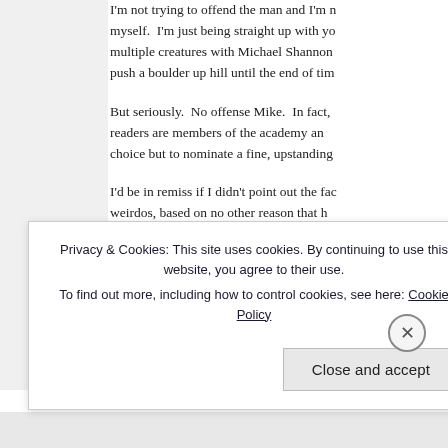I'm not trying to offend the man and I'm not trying to embarrass myself. I'm just being straight up with you. You can't appear in multiple creatures with Michael Shannon and not expect to have to push a boulder up hill until the end of tim
But seriously. No offense Mike. In fact, you're lucky that some readers are members of the academy and they'll have no other choice but to nominate a fine, upstanding
I'd be in remiss if I didn't point out the fac weirdos, based on no other reason that h staring at you through your bedroom win
FYI – I'm not saying he does that. I'm ju does look like a bedroom window mastu preconceived notions as to what a weird
Privacy & Cookies: This site uses cookies. By continuing to use this website, you agree to their use.
To find out more, including how to control cookies, see here: Cookie Policy
Close and accept